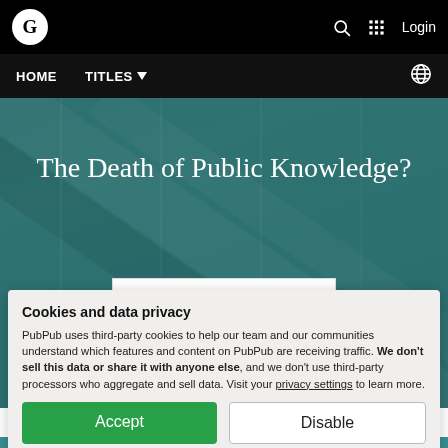G  [search icon]  [grid icon]  Login
HOME  TITLES ▾  [globe icon]
The Death of Public Knowledge?
Buying Options
Cookies and data privacy
PubPub uses third-party cookies to help our team and our communities understand which features and content on PubPub are receiving traffic. We don't sell this data or share it with anyone else, and we don't use third-party processors who aggregate and sell data. Visit your privacy settings to learn more.
Accept
Disable